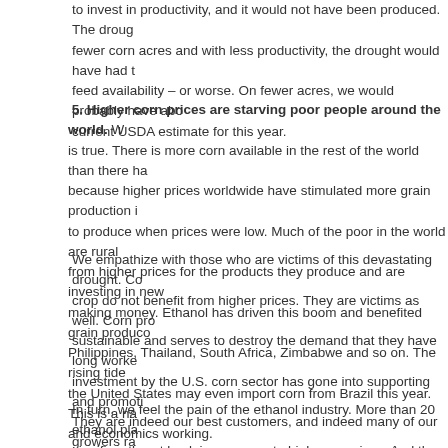to invest in productivity, and it would not have been produced. The drought hit fewer corn acres and with less productivity, the drought would have had to cut feed availability – or worse. On fewer acres, we would probably have about the current USDA estimate for this year.
5. Higher corn prices are starving poor people around the world. While it is true. There is more corn available in the rest of the world than there has been because higher prices worldwide have stimulated more grain production in regions to produce when prices were low. Much of the poor in the world are rural farmers from higher prices for the products they produce and are investing in new ways of making money. Ethanol has driven this boom and benefited grain producers in the Philippines, Thailand, South Africa, Zimbabwe and so on. The rising tide of corn – the United States may even import corn from Brazil this year. This is a natural market and economics working.
We empathize with those who are victims of this devastating drought. Corn producers who lost their crop do not benefit from higher prices. They are victims as well. Corn producers know that is not sustainable and serves to destroy the demand that they have long worked to support. Decades of investment by the U.S. corn sector has gone into supporting and promoting this demand worldwide. They are indeed our best customers, and indeed many of our growers raise livestock and suffer from higher prices and reduced feed availability. We feel their pain.
In turn, we feel the pain of the ethanol industry. More than 20 ethanol plants have significantly cut back in response to high corn prices. And the losses in th